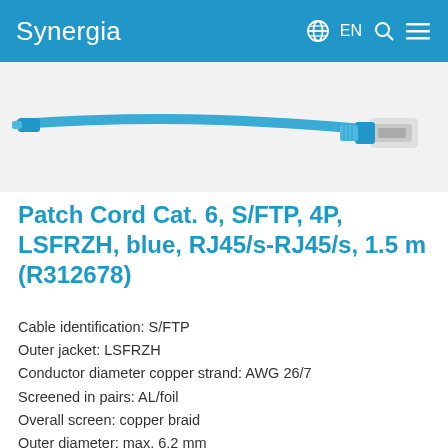Synergia  EN
[Figure (photo): Blue patch cord cable with RJ45/s connector shown against white background]
Patch Cord Cat. 6, S/FTP, 4P, LSFRZH, blue, RJ45/s-RJ45/s, 1.5 m (R312678)
Cable identification: S/FTP
Outer jacket: LSFRZH
Conductor diameter copper strand: AWG 26/7
Screened in pairs: AL/foil
Overall screen: copper braid
Outer diameter: max. 6.2 mm